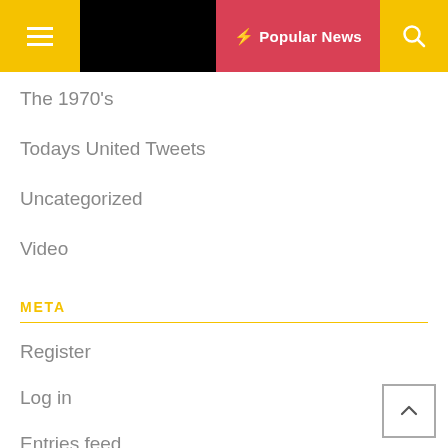Popular News
The 1970's
Todays United Tweets
Uncategorized
Video
META
Register
Log in
Entries feed
Comments feed